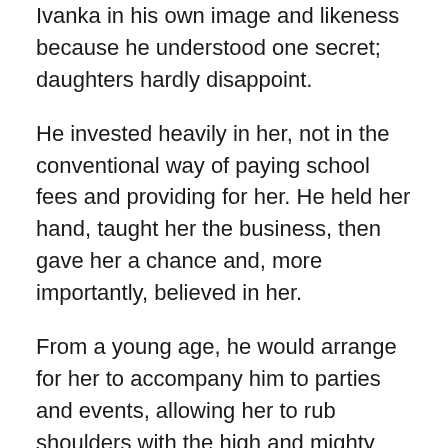Ivanka in his own image and likeness because he understood one secret; daughters hardly disappoint.
He invested heavily in her, not in the conventional way of paying school fees and providing for her. He held her hand, taught her the business, then gave her a chance and, more importantly, believed in her.
From a young age, he would arrange for her to accompany him to parties and events, allowing her to rub shoulders with the high and mighty because he knew that one day, his little girl would be one of the high and mighty too. He made sure she was by his side when he was running The Apprentice, showing her the ropes and believing in her opinion and picking her mind when he was torn over what to do.
He carried her along to golf championships, where the who is who were attending to introduce her to the world of